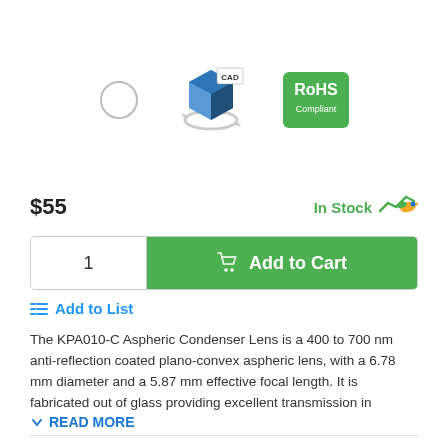[Figure (illustration): Product icons row: a small circle outline (lens photo placeholder), a CAD 3D blue box icon with rotating arrows, and a green RoHS Compliant badge]
$55
In Stock
1   Add to Cart
Add to List
The KPA010-C Aspheric Condenser Lens is a 400 to 700 nm anti-reflection coated plano-convex aspheric lens, with a 6.78 mm diameter and a 5.87 mm effective focal length. It is fabricated out of glass providing excellent transmission in
READ MORE